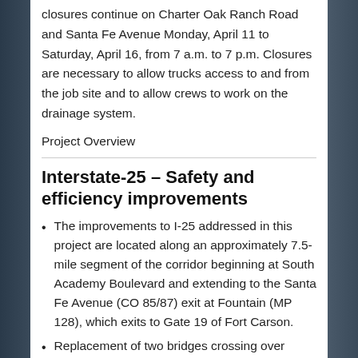closures continue on Charter Oak Ranch Road and Santa Fe Avenue Monday, April 11 to Saturday, April 16, from 7 a.m. to 7 p.m. Closures are necessary to allow trucks access to and from the job site and to allow crews to work on the drainage system.
Project Overview
Interstate-25 – Safety and efficiency improvements
The improvements to I-25 addressed in this project are located along an approximately 7.5-mile segment of the corridor beginning at South Academy Boulevard and extending to the Santa Fe Avenue (CO 85/87) exit at Fountain (MP 128), which exits to Gate 19 of Fort Carson.
Replacement of two bridges crossing over South